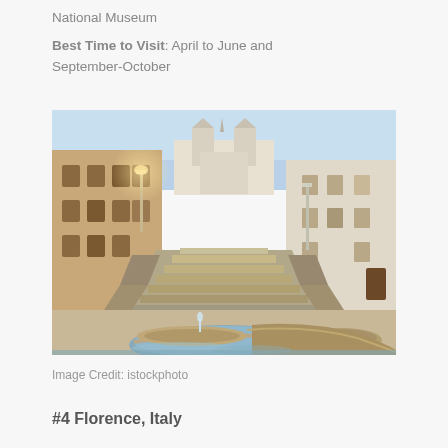National Museum
Best Time to Visit: April to June and September-October
[Figure (photo): Photograph of the Spanish Steps in Rome, Italy at dusk/dawn, showing a baroque stone staircase leading up to a church with twin bell towers (Trinità dei Monti). In the foreground is the Barcaccia fountain with water. The surrounding buildings are warm-toned Roman architecture with street lights glowing.]
Image Credit: istockphoto
#4 Florence, Italy